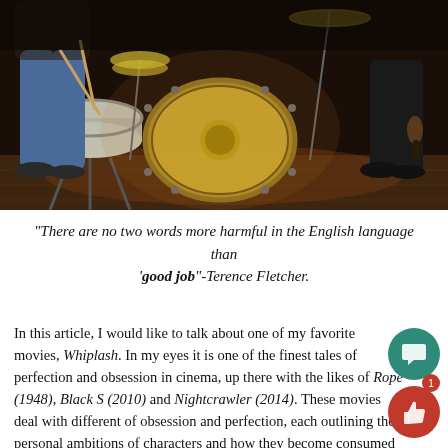[Figure (photo): Dark atmospheric photo of a drum kit on a stage or rehearsal space, showing a large bass drum and snare drum, with a person in jeans sitting at the drums on the left and another person in black pants standing on the right, wooden floor visible.]
“There are no two words more harmful in the English language than ‘good job”-Terence Fletcher.
In this article, I would like to talk about one of my favorite movies, Whiplash. In my eyes it is one of the finest tales of perfection and obsession in cinema, up there with the likes of Rope (1948), Black S (2010) and Nightcrawler (2014). These movies deal with different of obsession and perfection, each outlining the personal ambitions of characters and how they become consumed by their goals and ideo of which they follow, and thus affecting people and the world aroun